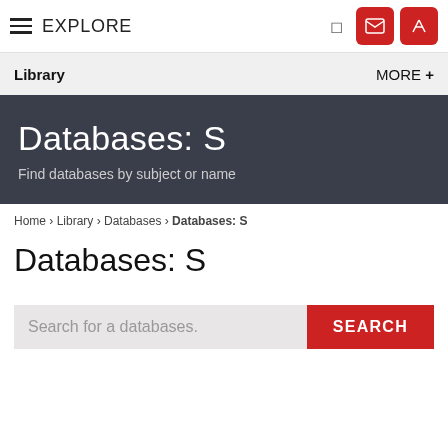EXPLORE
Library   MORE +
Databases: S
Find databases by subject or name
Home › Library › Databases › Databases: S
Databases: S
Search for a databases.